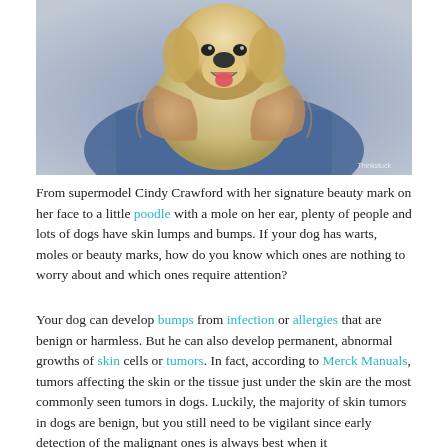[Figure (photo): A yellow Labrador dog being hugged by a person in blue jeans, photographed from above. The dog faces the camera with its mouth open. Thinkstock watermark visible in bottom right.]
From supermodel Cindy Crawford with her signature beauty mark on her face to a little poodle with a mole on her ear, plenty of people and lots of dogs have skin lumps and bumps. If your dog has warts, moles or beauty marks, how do you know which ones are nothing to worry about and which ones require attention?
Your dog can develop bumps from infection or allergies that are benign or harmless. But he can also develop permanent, abnormal growths of skin cells or tumors. In fact, according to Merck Manuals, tumors affecting the skin or the tissue just under the skin are the most commonly seen tumors in dogs. Luckily, the majority of skin tumors in dogs are benign, but you still need to be vigilant since early detection of the malignant ones is always best when it